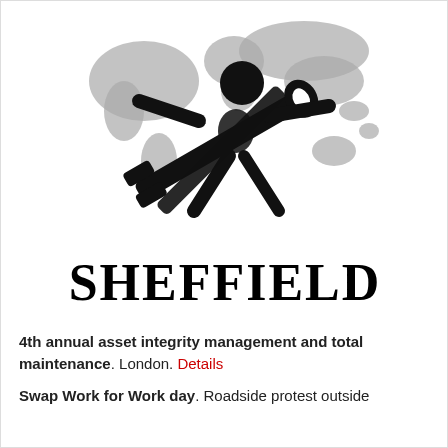[Figure (logo): Sheffield logo: a stylized figure holding a wrench/spanner overlaid on a grey world map silhouette]
SHEFFIELD
4th annual asset integrity management and total maintenance. London. Details
Swap Work for Work day. Roadside protest outside